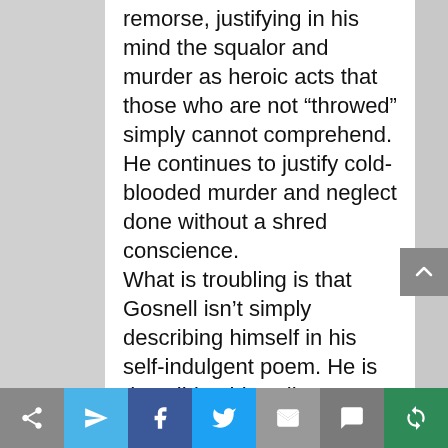remorse, justifying in his mind the squalor and murder as heroic acts that those who are not “throwed” simply cannot comprehend. He continues to justify cold-blooded murder and neglect done without a shred conscience.
What is troubling is that Gosnell isn’t simply describing himself in his self-indulgent poem. He is describing his colleagues as well. Operation Rescue has documented incidents of drug
[Figure (other): Mobile share/social toolbar with icons: share, send, Facebook, Twitter, email, SMS, and a circular arrow icon on colored backgrounds]